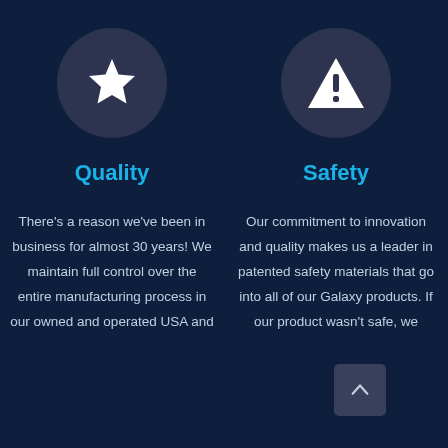[Figure (illustration): Dark circle icon with white star symbol representing Quality]
Quality
There's a reason we've been in business for almost 30 years! We maintain full control over the entire manufacturing process in our owned and operated USA and [continued]
[Figure (illustration): Dark circle icon with white warning/triangle exclamation mark symbol representing Safety]
Safety
Our commitment to innovation and quality makes us a leader in patented safety materials that go into all of our Galaxy pro[ducts]. If our product wasn't safe, we [continued]